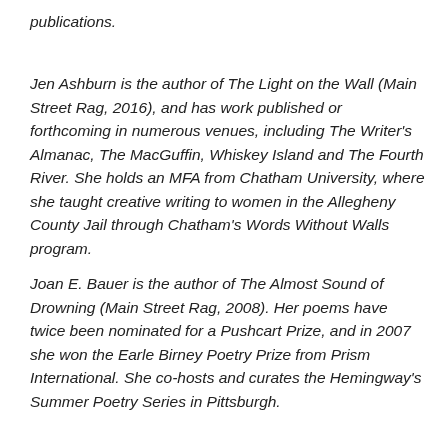publications.
Jen Ashburn is the author of The Light on the Wall (Main Street Rag, 2016), and has work published or forthcoming in numerous venues, including The Writer's Almanac, The MacGuffin, Whiskey Island and The Fourth River. She holds an MFA from Chatham University, where she taught creative writing to women in the Allegheny County Jail through Chatham's Words Without Walls program.
Joan E. Bauer is the author of The Almost Sound of Drowning (Main Street Rag, 2008). Her poems have twice been nominated for a Pushcart Prize, and in 2007 she won the Earle Birney Poetry Prize from Prism International. She co-hosts and curates the Hemingway's Summer Poetry Series in Pittsburgh.